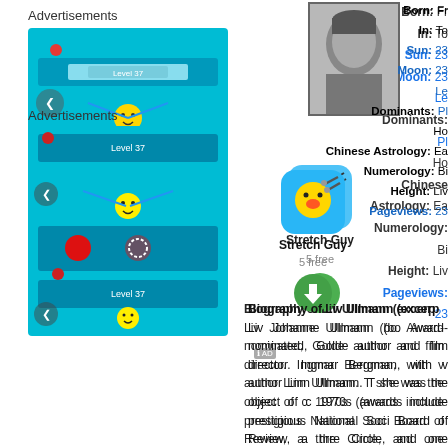Advertisements
[Figure (screenshot): Mobile game advertisement showing blue puzzle game with smiley characters and red circles on a cyan background]
[Figure (screenshot): Stretch Guy app icon (yellow emoji face with tools) with name 'Stretch Guy', '5 free' label and green download button]
[Figure (photo): Black and white portrait photo of Liv Ullmann]
Born: Fr
In: To
Sun: 23
Moon: 23
Le
Dominants: Pl
Ho
Chinese Astrology: Ea
Numerology: Bi
Height: Liv
Pageviews: 23
Biography of Liv Ullmann (excerp
Liv Johanne Ullmann (bo Award-nominated, Golde author and film director. Ingmar Bergman, with v author Linn Ullmann. T she was the object of c 1970s (awards include prestigious National Soci Board of Review, a thre Circle, and one Golden C